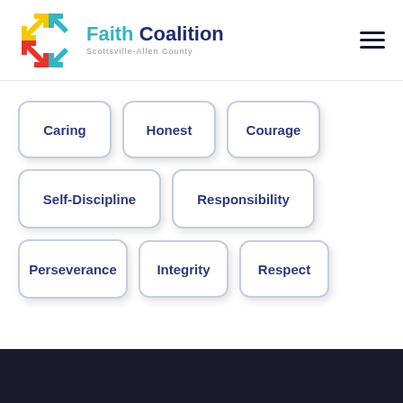[Figure (logo): Faith Coalition Scottsville-Allen County logo with colorful arrow icon]
Caring
Honest
Courage
Self-Discipline
Responsibility
Perseverance
Integrity
Respect